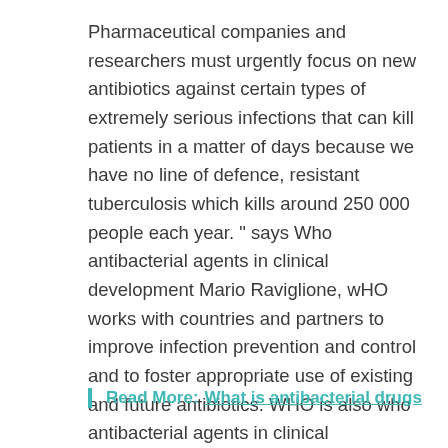Pharmaceutical companies and researchers must urgently focus on new antibiotics against certain types of extremely serious infections that can kill patients in a matter of days because we have no line of defence, resistant tuberculosis which kills around 250 000 people each year. “ says Who antibacterial agents in clinical development Mario Raviglione, wHO works with countries and partners to improve infection prevention and control and to foster appropriate use of existing and future antibiotics. WHO is also who antibacterial agents in clinical development guidance for the responsible use of antibiotics in the human, animal and agricultural sectors. Yet these are essential formulations for treating infections outside hospitals or in resource, research for tuberculosis is seriously underfunded, will not be sufficient to combat the threat of antimicrobial resistance.
Read More: What is antibacterial drugs